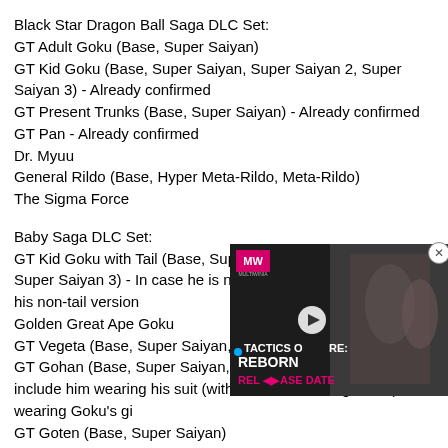Black Star Dragon Ball Saga DLC Set:
GT Adult Goku (Base, Super Saiyan)
GT Kid Goku (Base, Super Saiyan, Super Saiyan 2, Super Saiyan 3) - Already confirmed
GT Present Trunks (Base, Super Saiyan) - Already confirmed
GT Pan - Already confirmed
Dr. Myuu
General Rildo (Base, Hyper Meta-Rildo, Meta-Rildo)
The Sigma Force
Baby Saga DLC Set:
GT Kid Goku with Tail (Base, Super Saiyan, Super Saiyan 2, Super Saiyan 3) - In case he is not already included with his non-tail version
Golden Great Ape Goku
GT Vegeta (Base, Super Saiyan, Su...
GT Gohan (Base, Super Saiyan, Su... include him wearing his suit (with and without his glasses) and wearing Goku's gi
GT Goten (Base, Super Saiyan)
GT Bulla
[Figure (screenshot): Overlay advertisement for 'Tactics Ogre: Reborn Release Date' video with MW logo, play button, and pink/magenta title text on dark background with a close (X) button]